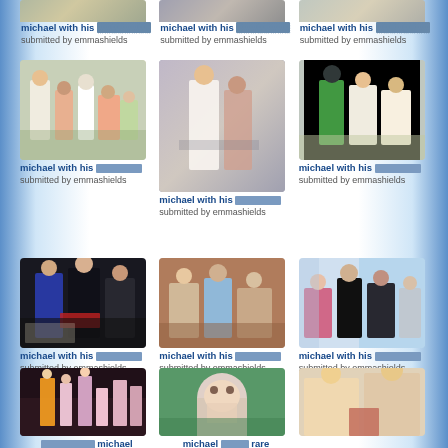[Figure (photo): Partial top photo 1 - group photo]
michael with his ░░░░░░░░ submitted by emmashields
[Figure (photo): Partial top photo 2 - group photo]
michael with his ░░░░░░░░ submitted by emmashields
[Figure (photo): Partial top photo 3 - group photo]
michael with his ░░░░░░░░ submitted by emmashields
[Figure (photo): Michael with family group outdoor photo]
michael with his ░░░░░░░░ submitted by emmashields
[Figure (photo): Michael with two people close-up indoor photo]
michael with his ░░░░░░░░ submitted by emmashields
[Figure (photo): Michael with child and man outdoor photo]
michael with his ░░░░░░░░ submitted by emmashields
[Figure (photo): Michael sitting at table with others]
michael with his ░░░░░░░░ submitted by emmashields
[Figure (photo): Group sitting at dinner table]
michael with his ░░░░░░░░ submitted by emmashields
[Figure (photo): Group of people outdoors near water]
michael with his ░░░░░░░░ submitted by emmashields
[Figure (photo): Stage performance photo]
░░░░░░░░ ░░░░░ michael submitted by emmashields
[Figure (photo): Woman close-up photo]
michael ░░░░░ rare submitted by emmashields
[Figure (photo): Michael with blonde woman]